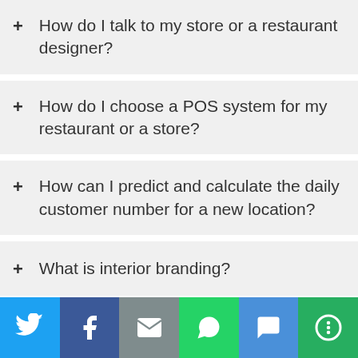+ How do I talk to my store or a restaurant designer?
+ How do I choose a POS system for my restaurant or a store?
+ How can I predict and calculate the daily customer number for a new location?
+ What is interior branding?
+ Should I buy a franchise or create my own brand?
+ [partial item cut off]